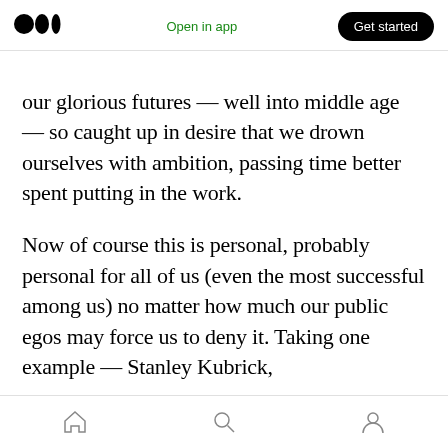Medium logo | Open in app | Get started
our glorious futures — well into middle age — so caught up in desire that we drown ourselves with ambition, passing time better spent putting in the work.
Now of course this is personal, probably personal for all of us (even the most successful among us) no matter how much our public egos may force us to deny it. Taking one example — Stanley Kubrick,
[Figure (photo): Black and white photograph, partially visible, showing a person's head with dark hair and a blurred face/camera in the left side.]
Home | Search | Profile navigation icons